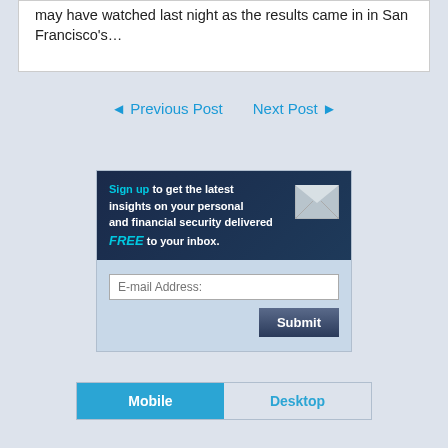may have watched last night as the results came in in San Francisco's…
◁ Previous Post   Next Post ▷
[Figure (infographic): Sign-up banner: 'Sign up to get the latest insights on your personal and financial security delivered FREE to your inbox.' with envelope icon, email input field, and Submit button.]
Mobile   Desktop